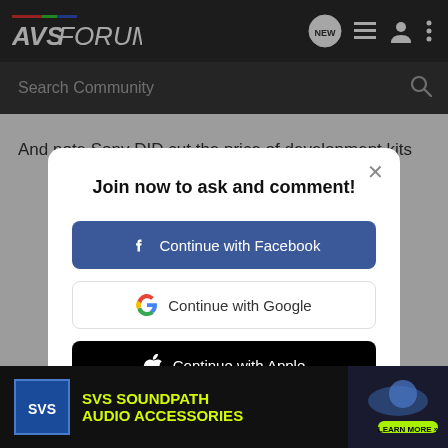AVS FORUM
Search Community
And note Sony DID cut the price of development kits
Join now to ask and comment!
Continue with Facebook
Continue with Google
Continue with Apple
or sign up with email
[Figure (screenshot): SVS SoundPath Audio Accessories advertisement banner with LEARN MORE button]